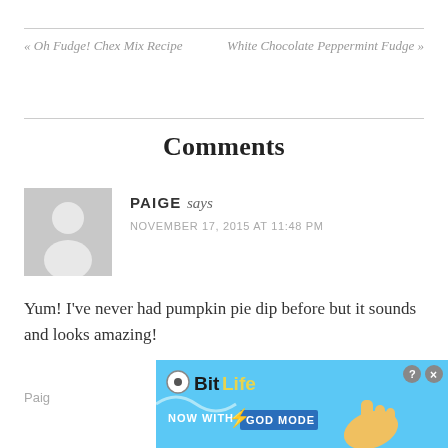« Oh Fudge! Chex Mix Recipe | White Chocolate Peppermint Fudge »
Comments
[Figure (illustration): Gray placeholder avatar with white silhouette of a person (head and shoulders)]
PAIGE says
NOVEMBER 17, 2015 AT 11:48 PM
Yum! I've never had pumpkin pie dip before but it sounds and looks amazing!
Paige
[Figure (screenshot): BitLife advertisement banner with 'NOW WITH GOD MODE' text, lightning bolt, hand/pointer illustration, blue background, question mark and close buttons]